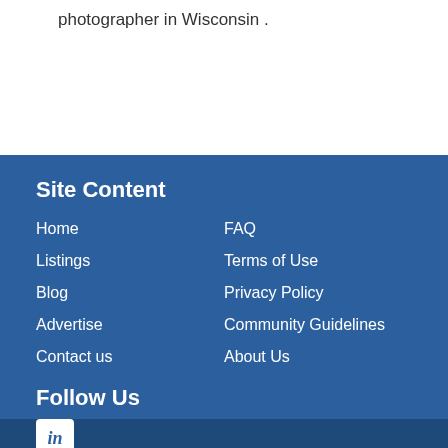photographer in Wisconsin .
Site Content
Home
FAQ
Listings
Terms of Use
Blog
Privacy Policy
Advertise
Community Guidelines
Contact us
About Us
Follow Us
[Figure (logo): LinkedIn icon - white rounded rectangle with 'in' in blue italic text]